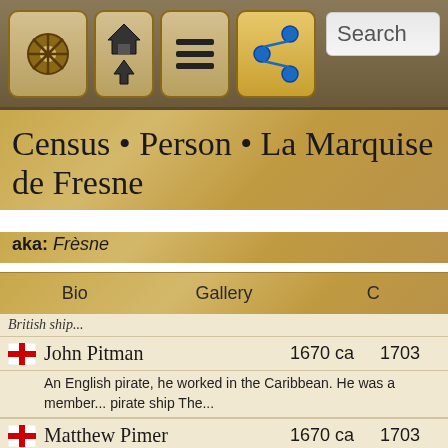[Figure (screenshot): Navigation bar with pirate wheel icon, home/up buttons, hamburger menu, share button, and search bar]
Census • Person • La Marquise de Fresne
aka: Frèsne
Bio   Gallery   C
British ship...
John Pitman   1670 ca   1703
An English pirate, he worked in the Caribbean. He was a member... pirate ship The...
Matthew Pimer   1670 ca   1703
an English pirate, he worked in the Caribbean. He was a member... pirate ship The...
John Quittance   1670 ca   1703
an English pirate, he worked in the Caribbean. He was a member... pirate ship The...
Captain Rayner   unknown   1703
Although there is no direct evidence that Rayner ever sailed the C... sail with